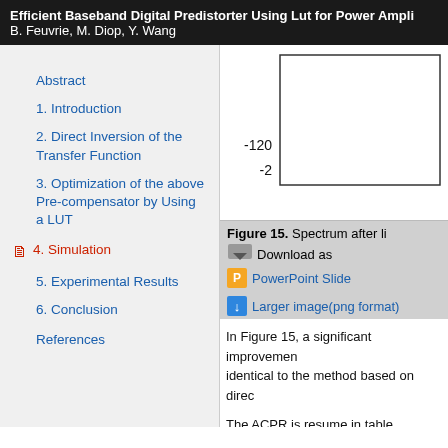Efficient Baseband Digital Predistorter Using Lut for Power Ampli... B. Feuvrie, M. Diop, Y. Wang
Abstract
1. Introduction
2. Direct Inversion of the Transfer Function
3. Optimization of the above Pre-compensator by Using a LUT
4. Simulation
5. Experimental Results
6. Conclusion
References
[Figure (continuous-plot): Partial view of a spectrum chart showing y-axis labels -120 and -2, rest of chart is cut off on right side. Background is white with a box/axis visible.]
Figure 15. Spectrum after li...
Download as
PowerPoint Slide
Larger image(png format)
In Figure 15, a significant improvemen... identical to the method based on direc...
The ACPR is resume in table